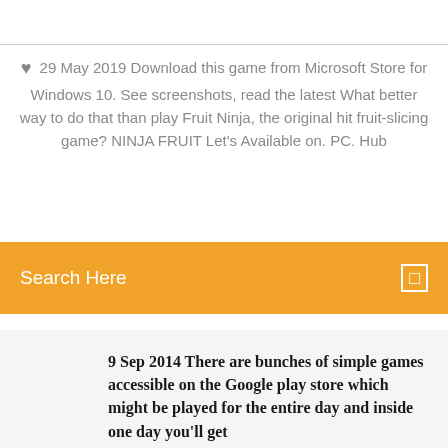29 May 2019 Download this game from Microsoft Store for Windows 10. See screenshots, read the latest What better way to do that than play Fruit Ninja, the original hit fruit-slicing game? NINJA FRUIT Let's Available on. PC. Hub
Search Here
9 Sep 2014 There are bunches of simple games accessible on the Google play store which might be played for the entire day and inside one day you'll get
[Figure (photo): Small circular avatar photo of a man with short dark hair]
15 May 2014 Created exclusively for touchscreen devices, Fruit Ninja has finally made its way to PC and more importantly to Windows 8.